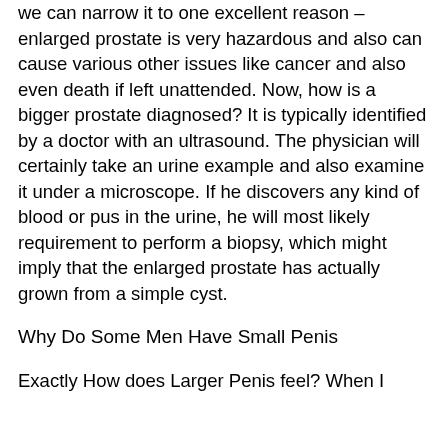we can narrow it to one excellent reason – enlarged prostate is very hazardous and also can cause various other issues like cancer and also even death if left unattended. Now, how is a bigger prostate diagnosed? It is typically identified by a doctor with an ultrasound. The physician will certainly take an urine example and also examine it under a microscope. If he discovers any kind of blood or pus in the urine, he will most likely requirement to perform a biopsy, which might imply that the enlarged prostate has actually grown from a simple cyst.
Why Do Some Men Have Small Penis
Exactly How does Larger Penis feel? When I